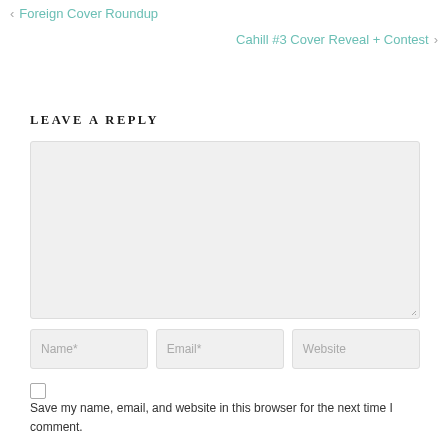< Foreign Cover Roundup
Cahill #3 Cover Reveal + Contest >
LEAVE A REPLY
[Figure (other): Comment text area input box, empty, light grey background]
[Figure (other): Three input fields: Name*, Email*, Website]
Save my name, email, and website in this browser for the next time I comment.